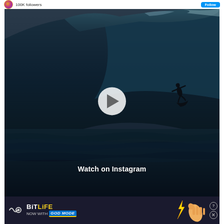100K followers
[Figure (photo): A surfer riding an enormous dark ocean wave, silhouetted against the dark water and sky. A play button overlay and 'Watch on Instagram' label are displayed over the video thumbnail.]
[Figure (infographic): BitLife advertisement banner: 'NOW WITH GOD MODE' with a hand pointing emoji graphic and close/help buttons.]